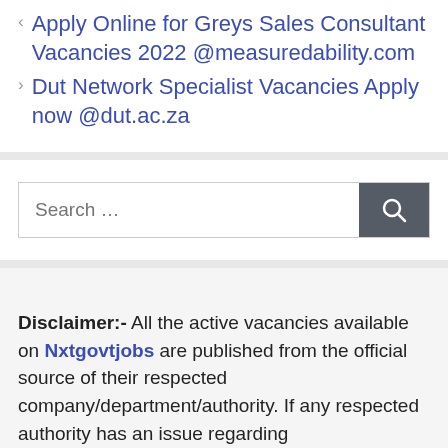Apply Online for Greys Sales Consultant Vacancies 2022 @measuredability.com
Dut Network Specialist Vacancies Apply now @dut.ac.za
[Figure (other): Search bar with text input showing 'Search ...' placeholder and a dark gray search button with magnifying glass icon]
Disclaimer:- All the active vacancies available on Nxtgovtjobs are published from the official source of their respected company/department/authority. If any respected authority has an issue regarding